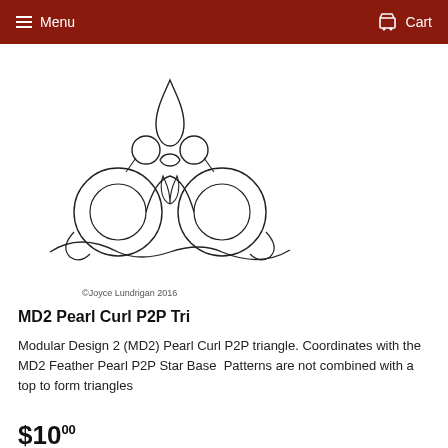Menu   Cart
[Figure (illustration): A decorative quilting pattern illustration showing an owl-like design with circular curls, spirals, and a teardrop/leaf shape at top, done in thin black outline on white. Copyright Joyce Lundrigan 2016.]
©Joyce Lundrigan 2016
MD2 Pearl Curl P2P Tri
Modular Design 2 (MD2) Pearl Curl P2P triangle. Coordinates with the MD2 Feather Pearl P2P Star Base  Patterns are not combined with a top to form triangles
$10.00